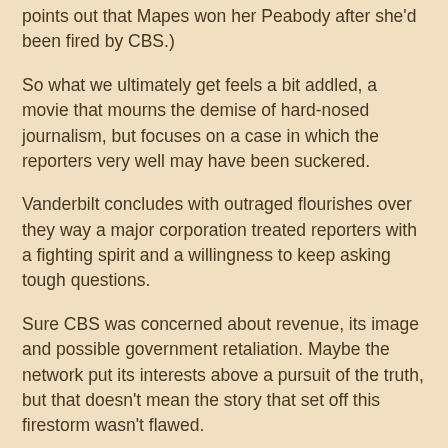points out that Mapes won her Peabody after she'd been fired by CBS.)
So what we ultimately get feels a bit addled, a movie that mourns the demise of hard-nosed journalism, but focuses on a case in which the reporters very well may have been suckered.
Vanderbilt concludes with outraged flourishes over they way a major corporation treated reporters with a fighting spirit and a willingness to keep asking tough questions.
Sure CBS was concerned about revenue, its image and possible government retaliation. Maybe the network put its interests above a pursuit of the truth, but that doesn't mean the story that set off this firestorm wasn't flawed.
It's hardly surprising that things ultimately got ugly at CBS. When a network has to fall on its sword, you can bet that blood will be shed, and -- in the case of the Bush story -- some of it belonged to journalists who sincerely thought they had uncovered something big.
Perhaps they did, but the country since has moved on from a